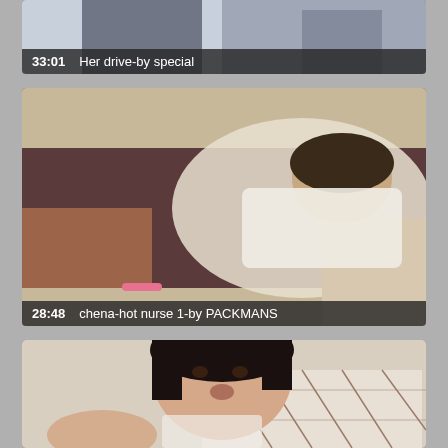[Figure (screenshot): Video thumbnail showing partial view, labeled '33:01 Her drive-by special']
33:01  Her drive-by special
[Figure (screenshot): Video thumbnail of a person lying on dark surface, labeled '28:48 chena-hot nurse 1-by PACKMANS']
28:48  chena-hot nurse 1-by PACKMANS
[Figure (screenshot): Partial video thumbnail at bottom of page]